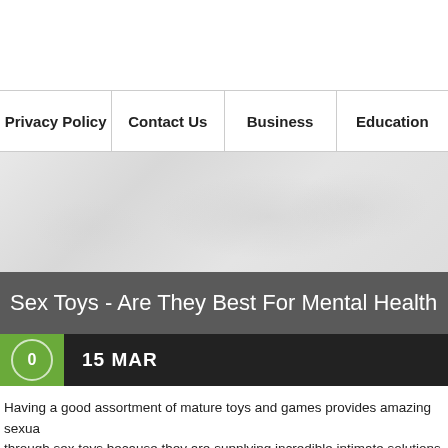Privacy Policy | Contact Us | Business | Education
[Figure (illustration): Light grey world map banner background texture]
Sex Toys - Are They Best For Mental Health
15 MAR
Having a good assortment of mature toys and games provides amazing sexual through sex toys because they are supplying incredible intimate solutions that